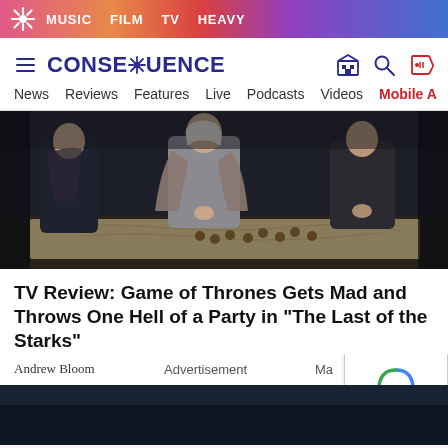MUSIC  FILM  TV  HEAVY
CONSEQUENCE — News  Reviews  Features  Live  Podcasts  Videos  Mobile A
[Figure (photo): Three figures in medieval/fantasy costumes standing around a map table — a scene from Game of Thrones]
TV Review: Game of Thrones Gets Mad and Throws One Hell of a Party in "The Last of the Starks"
Andrew Bloom   Advertisement   Ma
[Figure (photo): Dark screenshot from Game of Thrones episode, bottom portion of article]